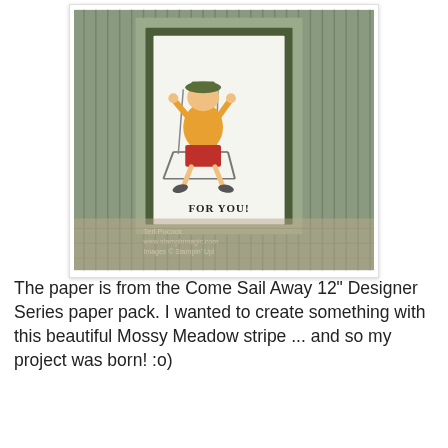[Figure (photo): A handmade greeting card displayed on a wooden surface. The card features a striped Mossy Meadow green paper background with vertical stripes. Mounted on the card is a white panel with a dark olive green mat, showing a cartoon illustration of a relaxed man sitting in a beach chair wearing a hat, orange shirt, and colorful shorts. Below the illustration text reads 'FOR YOU!' in a stamp font. In the lower left corner of the photo is a watermark reading 'Teri Pocock / www.stampinmagic.com / Images © Stampin' Up!']
The paper is from the Come Sail Away 12" Designer Series paper pack. I wanted to create something with this beautiful Mossy Meadow stripe ... and so my project was born! :o)